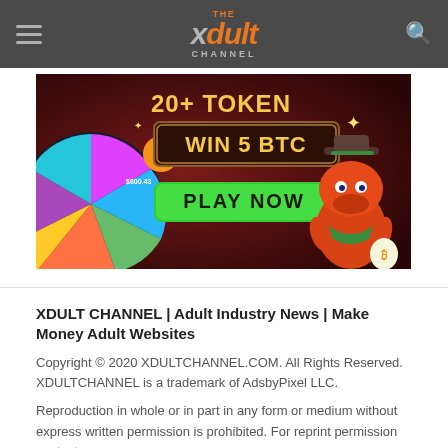THE XDULT CHANNEL
[Figure (illustration): Cryptocurrency casino banner advertisement showing a spinning wheel with tokens, text '20+ TOKEN WIN 5 BTC PLAY NOW' in gold and green on dark red background with an orange dinosaur character wearing a cowboy hat holding a bitcoin bag]
XDULT CHANNEL | Adult Industry News | Make Money Adult Websites
Copyright © 2020 XDULTCHANNEL.COM. All Rights Reserved. XDULTCHANNEL is a trademark of AdsbyPixel LLC.
Reproduction in whole or in part in any form or medium without express written permission is prohibited. For reprint permission contact us.
Back to top